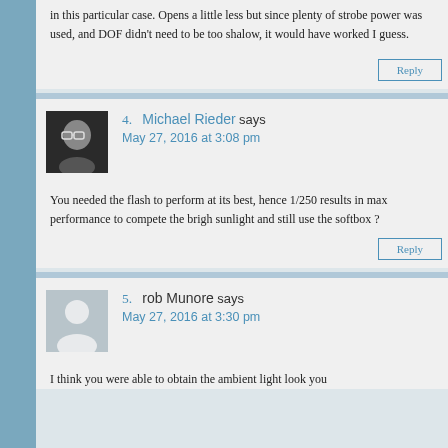in this particular case. Opens a little less but since plenty of strobe power was used, and DOF didn't need to be too shalow, it would have worked I guess.
4.  Michael Rieder says
May 27, 2016 at 3:08 pm
You needed the flash to perform at its best, hence 1/250 results in max performance to compete the brigh sunlight and still use the softbox ?
5.  rob Munore says
May 27, 2016 at 3:30 pm
I think you were able to obtain the ambient light look you